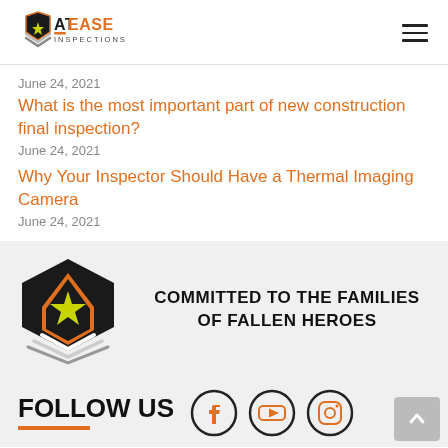AT EASE INSPECTIONS
June 24, 2021
What is the most important part of new construction final inspection?
June 24, 2021
Why Your Inspector Should Have a Thermal Imaging Camera
June 24, 2021
[Figure (logo): At Ease Inspections logo with badge and house icon, text: COMMITTED TO THE FAMILIES OF FALLEN HEROES]
FOLLOW US
[Figure (infographic): Social media icons: Facebook, YouTube, Instagram]